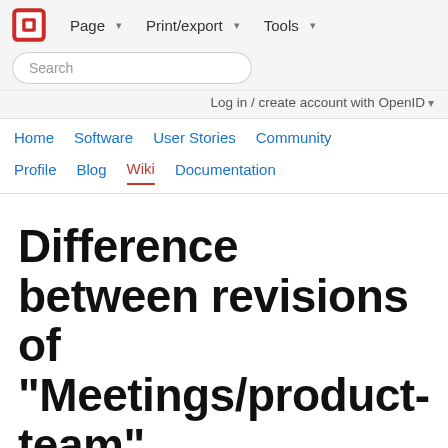Page ▾  Print/export ▾  Tools ▾
Search
Log in / create account with OpenID ▾
Home   Software   User Stories   Community
Profile   Blog   Wiki   Documentation
Difference between revisions of "Meetings/product-team"